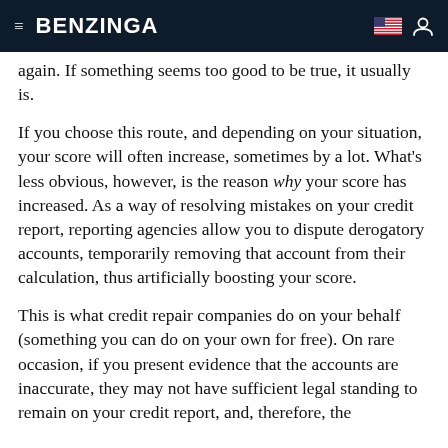BENZINGA
again. If something seems too good to be true, it usually is.
If you choose this route, and depending on your situation, your score will often increase, sometimes by a lot. What’s less obvious, however, is the reason why your score has increased. As a way of resolving mistakes on your credit report, reporting agencies allow you to dispute derogatory accounts, temporarily removing that account from their calculation, thus artificially boosting your score.
This is what credit repair companies do on your behalf (something you can do on your own for free). On rare occasion, if you present evidence that the accounts are inaccurate, they may not have sufficient legal standing to remain on your credit report, and, therefore, the